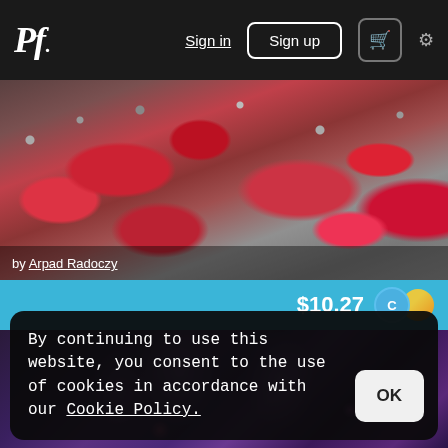Pf. | Sign in | Sign up | [cart] [settings]
[Figure (photo): Rose petals scattered on a rocky pebble beach, viewed from above at an angle. Dark overlay at bottom with photo credit.]
by Arpad Radoczy
$10.27
[Figure (photo): Blurred purple and pink bokeh lights, possibly stage lighting or concert background.]
By continuing to use this website, you consent to the use of cookies in accordance with our Cookie Policy.